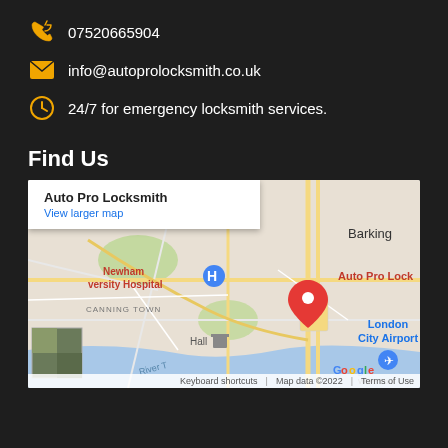07520665904
info@autoprolocksmith.co.uk
24/7 for emergency locksmith services.
Find Us
[Figure (map): Google Map showing Auto Pro Locksmith location near Canning Town, London. Shows Newham University Hospital, London City Airport, Barking area, and A1020 road. Red location pin marked 'Auto Pro Lock'. Popup shows 'Auto Pro Locksmith' with 'View larger map' link. Footer shows 'Keyboard shortcuts | Map data ©2022 | Terms of Use'.]